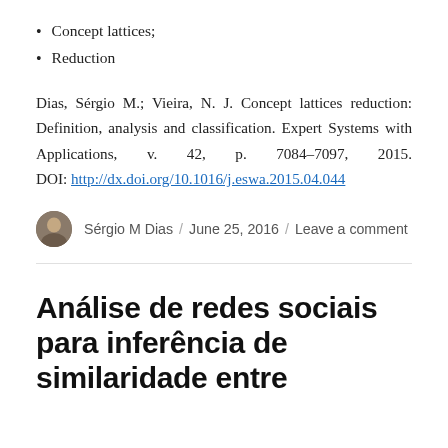Concept lattices;
Reduction
Dias, Sérgio M.; Vieira, N. J. Concept lattices reduction: Definition, analysis and classification. Expert Systems with Applications, v. 42, p. 7084–7097, 2015. DOI: http://dx.doi.org/10.1016/j.eswa.2015.04.044
Sérgio M Dias / June 25, 2016 / Leave a comment
Análise de redes sociais para inferência de similaridade entre